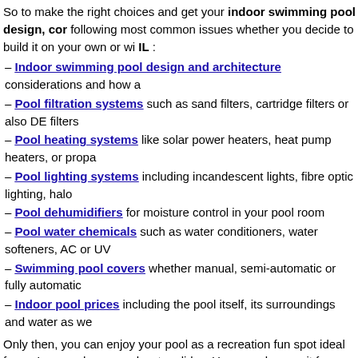So to make the right choices and get your indoor swimming pool design, cor following most common issues whether you decide to build it on your own or wi IL :
– Indoor swimming pool design and architecture considerations and how a
– Pool filtration systems such as sand filters, cartridge filters or also DE filters
– Pool heating systems like solar power heaters, heat pump heaters, or propa
– Pool lighting systems including incandescent lights, fibre optic lighting, halo
– Pool dehumidifiers for moisture control in your pool room
– Pool water chemicals such as water conditioners, water softeners, AC or UV
– Swimming pool covers whether manual, semi-automatic or fully automatic
– Indoor pool prices including the pool itself, its surroundings and water as we
Only then, you can enjoy your pool as a recreation fun spot ideal for water gam hoops and water slides. You can also use it for daily exercise or hydrotherapy
Make sure you browse this website to learn all you need to know about having a
Related posts:
1. Indoor Swimming Pool in Buena Park CA
2. Indoor Swimming Pool in Baldwin Park CA
3. Indoor Swimming Pool in Brooklyn Park MN